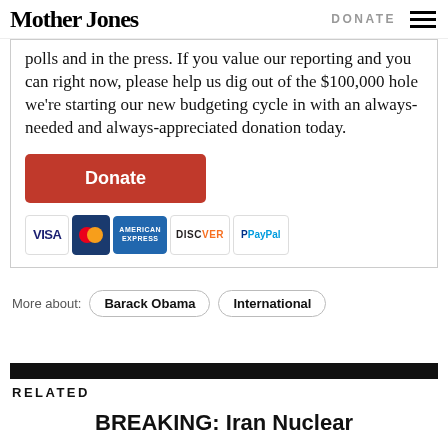Mother Jones | DONATE
polls and in the press. If you value our reporting and you can right now, please help us dig out of the $100,000 hole we're starting our new budgeting cycle in with an always-needed and always-appreciated donation today.
[Figure (other): Orange Donate button followed by payment method icons: VISA, MasterCard, American Express, Discover, PayPal]
More about: Barack Obama  International
RELATED
BREAKING: Iran Nuclear